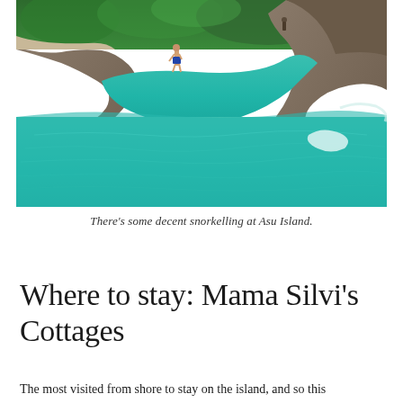[Figure (photo): Aerial or elevated view of turquoise coastal waters with rocky shoreline. Clear teal ocean water with rocks and white surf. Dense green tropical vegetation visible along the top. A person in blue swim shorts standing on rocks near the water's edge. Another figure visible in the upper right area.]
There's some decent snorkelling at Asu Island.
Where to stay: Mama Silvi's Cottages
The most visited from shore to stay on the island, and so this